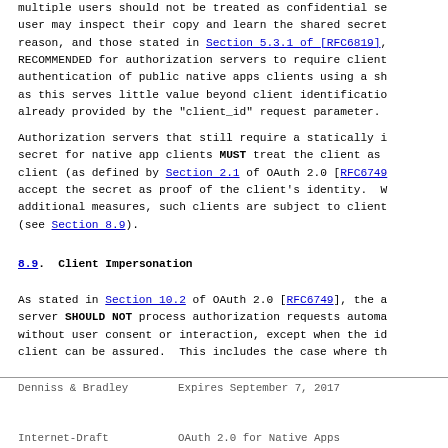multiple users should not be treated as confidential se user may inspect their copy and learn the shared secret reason, and those stated in Section 5.3.1 of [RFC6819], RECOMMENDED for authorization servers to require client authentication of public native apps clients using a sh as this serves little value beyond client identificatio already provided by the "client_id" request parameter.
Authorization servers that still require a statically i secret for native app clients MUST treat the client as client (as defined by Section 2.1 of OAuth 2.0 [RFC6749 accept the secret as proof of the client's identity. W additional measures, such clients are subject to client (see Section 8.9).
8.9.  Client Impersonation
As stated in Section 10.2 of OAuth 2.0 [RFC6749], the a server SHOULD NOT process authorization requests automa without user consent or interaction, except when the id client can be assured.  This includes the case where th
Denniss & Bradley          Expires September 7, 2017
Internet-Draft             OAuth 2.0 for Native Apps